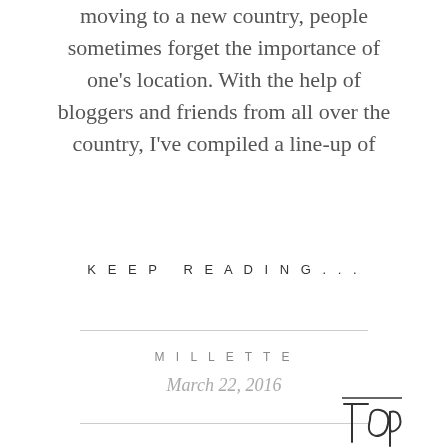moving to a new country, people sometimes forget the importance of one's location. With the help of bloggers and friends from all over the country, I've compiled a line-up of
KEEP READING...
MILLETTE
March 22, 2016
[Figure (illustration): Handwritten script 'Top' logo in black ink]